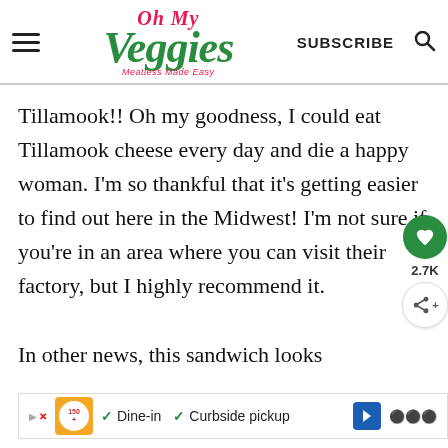Oh My Veggies | SUBSCRIBE
Tillamook!! Oh my goodness, I could eat Tillamook cheese every day and die a happy woman. I'm so thankful that it's getting easier to find out here in the Midwest! I'm not sure if you're in an area where you can visit their factory, but I highly recommend it.

In other news, this sandwich looks
[Figure (screenshot): Ad banner with restaurant logo, Dine-in and Curbside pickup options, navigation arrow]